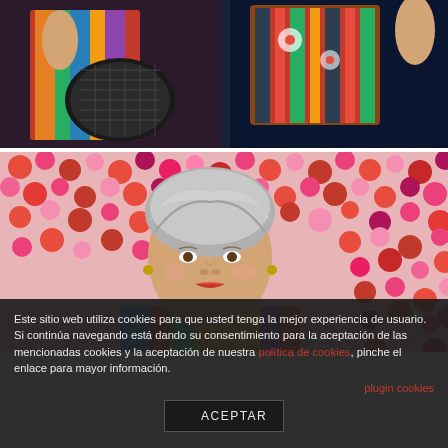[Figure (photo): Overhead view of two women in colorful patterned clothing sitting with woven bags and textile accessories on a dark surface]
[Figure (photo): Elderly woman with silver hair posing in front of a wall covered with pink and red flowers, wearing a colorful striped top]
Este sitio web utiliza cookies para que usted tenga la mejor experiencia de usuario. Si continúa navegando está dando su consentimiento para la aceptación de las mencionadas cookies y la aceptación de nuestra política de cookies, pinche el enlace para mayor información.
plugin cookies
ACEPTAR